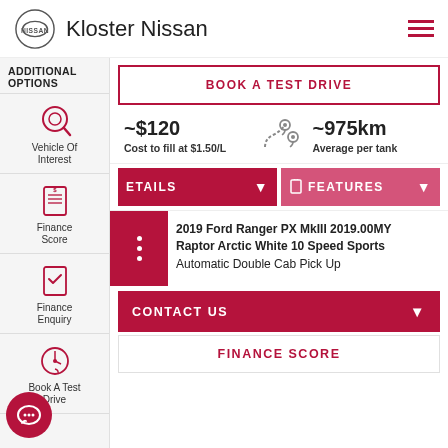Kloster Nissan
ADDITIONAL OPTIONS
Vehicle Of Interest
Finance Score
Finance Enquiry
Book A Test Drive
BOOK A TEST DRIVE
~$120 Cost to fill at $1.50/L
~975km Average per tank
ETAILS
FEATURES
2019 Ford Ranger PX MkIII 2019.00MY Raptor Arctic White 10 Speed Sports Automatic Double Cab Pick Up
CONTACT US
FINANCE SCORE